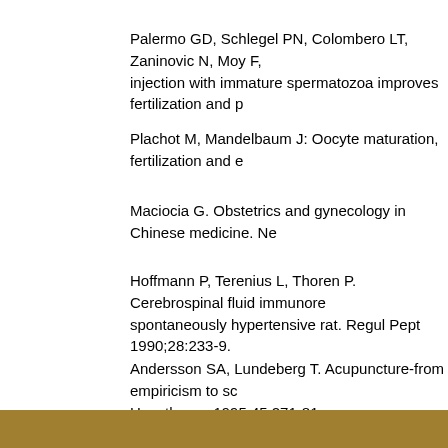Palermo GD, Schlegel PN, Colombero LT, Zaninovic N, Moy F, injection with immature spermatozoa improves fertilization and p
Plachot M, Mandelbaum J: Oocyte maturation, fertilization and e
Maciocia G. Obstetrics and gynecology in Chinese medicine. Ne
Hoffmann P, Terenius L, Thoren P. Cerebrospinal fluid immunore spontaneously hypertensive rat. Regul Pept 1990;28:233-9.
Andersson SA, Lundeberg T. Acupuncture-from empiricism to sc Hypotheses 1995;45:271-81.
Chen BY, Yu J. Relationship between blood radioimmunoreactiv induction of ovulation. Acupunct Electrother Res 1991;16:1-5.
Kim J, Shin KH, Na CS. Effect of acupuncture treatment on uter Invest 2000;50:225-30.